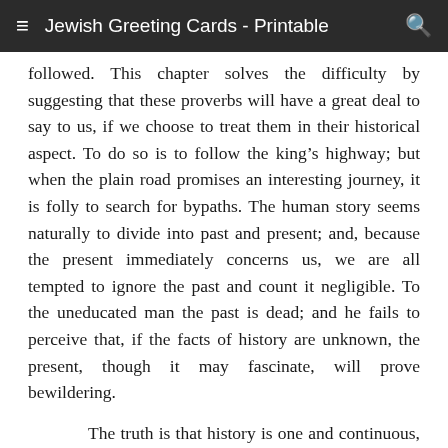≡  Jewish Greeting Cards - Printable  🔍
followed. This chapter solves the difficulty by suggesting that these proverbs will have a great deal to say to us, if we choose to treat them in their historical aspect. To do so is to follow the king's highway; but when the plain road promises an interesting journey, it is folly to search for bypaths. The human story seems naturally to divide into past and present; and, because the present immediately concerns us, we are all tempted to ignore the past and count it negligible. To the uneducated man the past is dead; and he fails to perceive that, if the facts of history are unknown, the present, though it may fascinate, will prove bewildering.

The truth is that history is one and continuous, the present is organically related to the past, and the division between them in our thought is artificial and perilously misleading. Nothing is of greater practical value than to learn and ponder the narrative of the past, provided heart and mind are kept alert to discern the guidance it continually